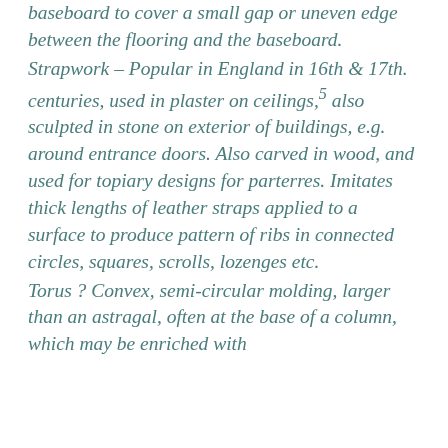baseboard to cover a small gap or uneven edge between the flooring and the baseboard.
Strapwork – Popular in England in 16th & 17th. centuries, used in plaster on ceilings,5 also sculpted in stone on exterior of buildings, e.g. around entrance doors. Also carved in wood, and used for topiary designs for parterres. Imitates thick lengths of leather straps applied to a surface to produce pattern of ribs in connected circles, squares, scrolls, lozenges etc.
Torus ? Convex, semi-circular molding, larger than an astragal, often at the base of a column, which may be enriched with